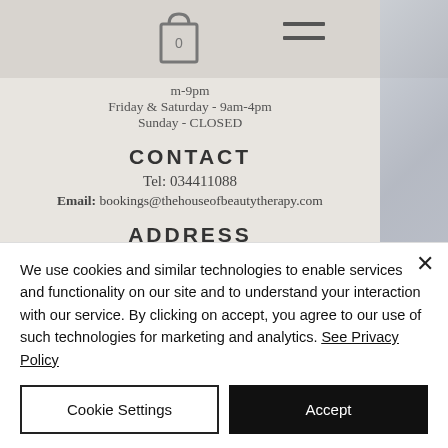[Figure (screenshot): Shopping bag icon with 0 label and hamburger menu icon in top navigation bar]
m-9pm
Friday & Saturday - 9am-4pm
Sunday - CLOSED
CONTACT
Tel: 034411088
Email: bookings@thehouseofbeautytherapy.com
ADDRESS
Level 1, Shop C106
19 Grant Road
We use cookies and similar technologies to enable services and functionality on our site and to understand your interaction with our service. By clicking on accept, you agree to our use of such technologies for marketing and analytics. See Privacy Policy
Cookie Settings
Accept